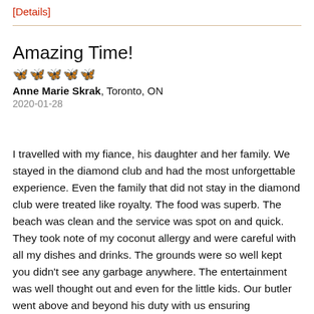[Details]
Amazing Time!
[Figure (other): Five orange butterfly/rating icons representing a 5-star review]
Anne Marie Skrak, Toronto, ON
2020-01-28
I travelled with my fiance, his daughter and her family. We stayed in the diamond club and had the most unforgettable experience. Even the family that did not stay in the diamond club were treated like royalty. The food was superb. The beach was clean and the service was spot on and quick. They took note of my coconut allergy and were careful with all my dishes and drinks. The grounds were so well kept you didn't see any garbage anywhere. The entertainment was well thought out and even for the little kids. Our butler went above and beyond his duty with us ensuring everything was thought out with dinner and anything else we needed. He even asked for us to ley him know we got Jones safe which we did. I will definitely